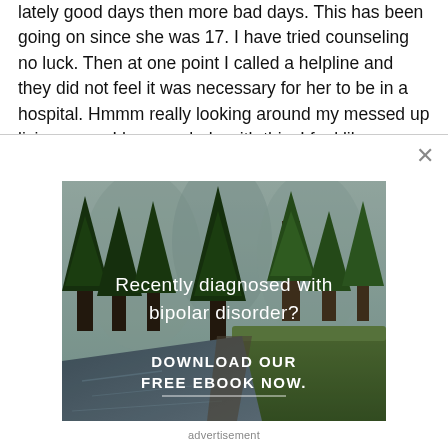lately good days then more bad days. This has been going on since she was 17. I have tried counseling no luck. Then at one point I called a helpline and they did not feel it was necessary for her to be in a hospital. Hmmm really looking around my messed up living room. I have no help with this. I feel like a prisoner I have no future
[Figure (infographic): Advertisement banner with a forest and river landscape background. Text overlay reads 'Recently diagnosed with bipolar disorder? DOWNLOAD OUR FREE EBOOK NOW.' with a decorative underline.]
advertisement